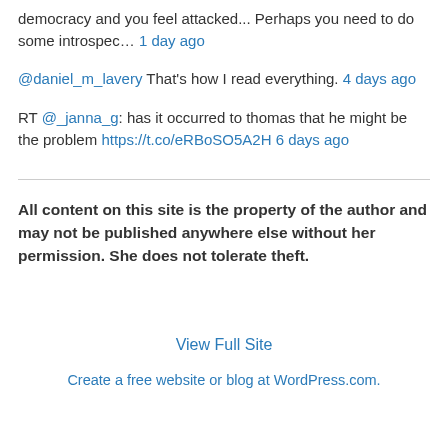democracy and you feel attacked... Perhaps you need to do some introspec… 1 day ago
@daniel_m_lavery That's how I read everything. 4 days ago
RT @_janna_g: has it occurred to thomas that he might be the problem https://t.co/eRBoSO5A2H 6 days ago
All content on this site is the property of the author and may not be published anywhere else without her permission. She does not tolerate theft.
View Full Site
Create a free website or blog at WordPress.com.